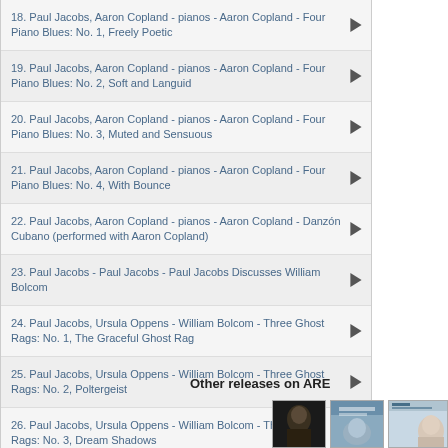18. Paul Jacobs, Aaron Copland - pianos - Aaron Copland - Four Piano Blues: No. 1, Freely Poetic
19. Paul Jacobs, Aaron Copland - pianos - Aaron Copland - Four Piano Blues: No. 2, Soft and Languid
20. Paul Jacobs, Aaron Copland - pianos - Aaron Copland - Four Piano Blues: No. 3, Muted and Sensuous
21. Paul Jacobs, Aaron Copland - pianos - Aaron Copland - Four Piano Blues: No. 4, With Bounce
22. Paul Jacobs, Aaron Copland - pianos - Aaron Copland - Danzón Cubano (performed with Aaron Copland)
23. Paul Jacobs - Paul Jacobs - Paul Jacobs Discusses William Bolcom
24. Paul Jacobs, Ursula Oppens - William Bolcom - Three Ghost Rags: No. 1, The Graceful Ghost Rag
25. Paul Jacobs, Ursula Oppens - William Bolcom - Three Ghost Rags: No. 2, Poltergeist
26. Paul Jacobs, Ursula Oppens - William Bolcom - Three Ghost Rags: No. 3, Dream Shadows
27. Paul Jacobs - Paul Jacobs - Paul Jacobs Discusses Frederic Rzewski
28. Paul Jacobs, Ursula Oppens - Frederic Rzewski - North American Ballads: No. 3, Down by the Riverside
Other releases on ARE
[Figure (photo): Album cover thumbnail - dark portrait photo]
[Figure (photo): Album cover thumbnail - medium toned cover]
[Figure (photo): Album cover thumbnail - The Pierre Souvtchinski Edition, light blue/grey cover with portrait]